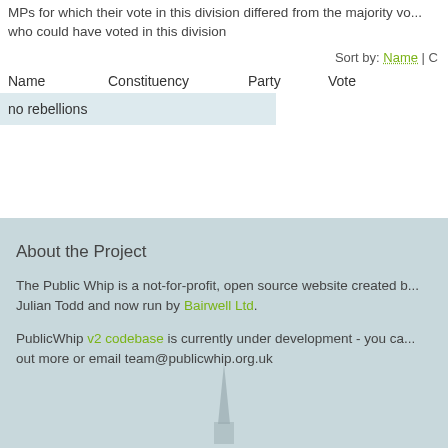MPs for which their vote in this division differed from the majority vote who could have voted in this division
Sort by: Name | C
| Name | Constituency | Party | Vote |
| --- | --- | --- | --- |
| no rebellions |  |  |  |
About the Project
The Public Whip is a not-for-profit, open source website created by Julian Todd and now run by Bairwell Ltd.
PublicWhip v2 codebase is currently under development - you can find out more or email team@publicwhip.org.uk